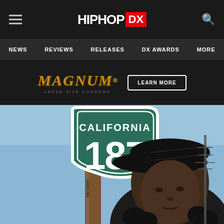HipHopDX - Navigation bar with HIPHOP DX logo, hamburger menu, search icon, NEWS, REVIEWS, RELEASES, DX AWARDS, MORE
[Figure (other): Advertisement banner for MAGNUM Large Size Condoms with golden logo text and LEARN MORE button on dark background]
[Figure (photo): Photo of a young Black man wearing a baseball cap standing in front of a California Highway 187 sign on a wooden pole, blue sky background]